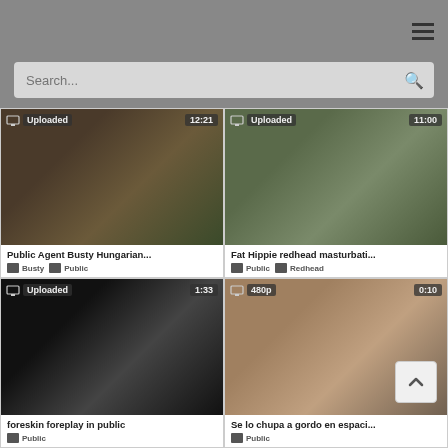[Figure (screenshot): Mobile website screenshot showing a video grid with search bar and hamburger menu. Four video thumbnails with titles and tags.]
Search...
Public Agent Busty Hungarian...
Busty   Public
Fat Hippie redhead masturbati...
Public   Redhead
foreskin foreplay in public
Public
Se lo chupa a gordo en espaci...
Public